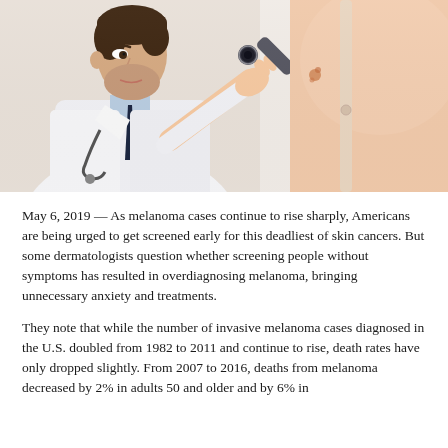[Figure (photo): A male doctor in a white coat using a dermatoscope to examine skin on a patient's back/shoulder area. The patient is wearing a beige bra strap. The doctor leans in closely with the magnifying device.]
May 6, 2019 — As melanoma cases continue to rise sharply, Americans are being urged to get screened early for this deadliest of skin cancers. But some dermatologists question whether screening people without symptoms has resulted in overdiagnosing melanoma, bringing unnecessary anxiety and treatments.
They note that while the number of invasive melanoma cases diagnosed in the U.S. doubled from 1982 to 2011 and continue to rise, death rates have only dropped slightly. From 2007 to 2016, deaths from melanoma decreased by 2% in adults 50 and older and by 6% in